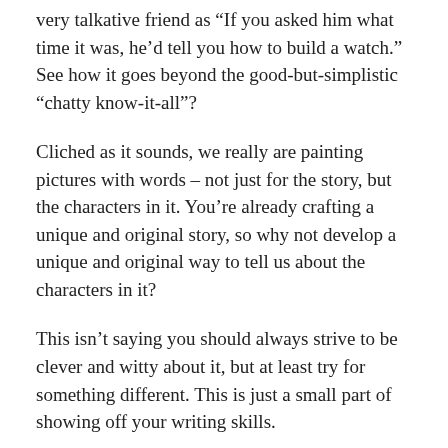very talkative friend as “If you asked him what time it was, he’d tell you how to build a watch.” See how it goes beyond the good-but-simplistic “chatty know-it-all”?
Cliched as it sounds, we really are painting pictures with words – not just for the story, but the characters in it. You’re already crafting a unique and original story, so why not develop a unique and original way to tell us about the characters in it?
This isn’t saying you should always strive to be clever and witty about it, but at least try for something different. This is just a small part of showing off your writing skills.